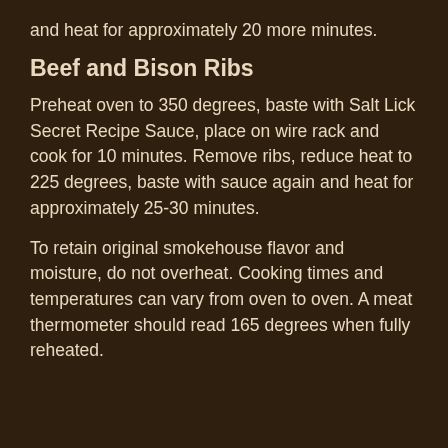and heat for approximately 20 more minutes.
Beef and Bison Ribs
Preheat oven to 350 degrees, baste with Salt Lick Secret Recipe Sauce, place on wire rack and cook for 10 minutes. Remove ribs, reduce heat to 225 degrees, baste with sauce again and heat for approximately 25-30 minutes.
To retain original smokehouse flavor and moisture, do not overheat. Cooking times and temperatures can vary from oven to oven. A meat thermometer should read 165 degrees when fully reheated.